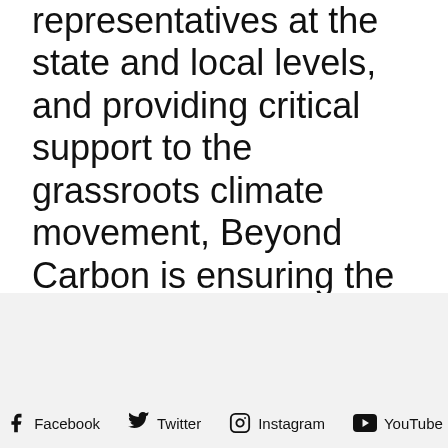representatives at the state and local levels, and providing critical support to the grassroots climate movement, Beyond Carbon is ensuring the United States continues to make progress on the goals outlined in the Paris Agreement. For more information, please visit beyondcarbon.org.
Facebook  Twitter  Instagram  YouTube